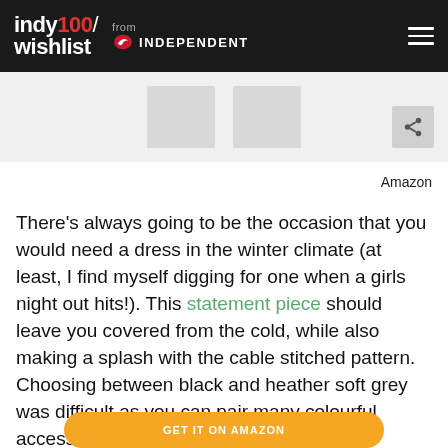indy100/ wishlist from INDEPENDENT
[Figure (photo): Partial product image placeholders visible at top of page with a share icon button]
Amazon
There's always going to be the occasion that you would need a dress in the winter climate (at least, I find myself digging for one when a girls night out hits!). This statement piece should leave you covered from the cold, while also making a splash with the cable stitched pattern. Choosing between black and heather soft grey was difficult as you can pair many colourful accessories and shoes with both.